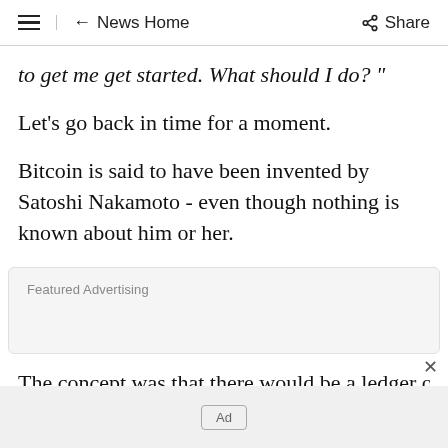≡  ← News Home   Share
to get me get started. What should I do? "
Let's go back in time for a moment.
Bitcoin is said to have been invented by Satoshi Nakamoto - even though nothing is known about him or her.
[Figure (other): Featured Advertising banner placeholder]
The concept was that there would be a ledger of